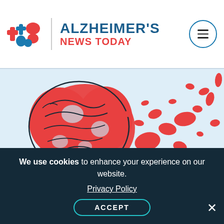ALZHEIMER'S NEWS TODAY
[Figure (illustration): Illustration of a red human brain with pieces fragmenting and floating away to the right, on a light blue background, symbolizing Alzheimer's disease and cognitive decline.]
June 23, 2022 | News | by Patricia Inacio, PhD
Scans and Follow-up Research Rely on At-Risk...
We use cookies to enhance your experience on our website.
Privacy Policy
ACCEPT